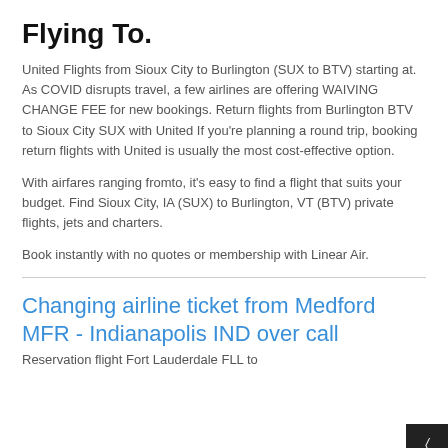Flying To.
United Flights from Sioux City to Burlington (SUX to BTV) starting at. As COVID disrupts travel, a few airlines are offering WAIVING CHANGE FEE for new bookings. Return flights from Burlington BTV to Sioux City SUX with United If you're planning a round trip, booking return flights with United is usually the most cost-effective option.
With airfares ranging fromto, it's easy to find a flight that suits your budget. Find Sioux City, IA (SUX) to Burlington, VT (BTV) private flights, jets and charters.
Book instantly with no quotes or membership with Linear Air.
Changing airline ticket from Medford MFR - Indianapolis IND over call
Reservation flight Fort Lauderdale FLL to